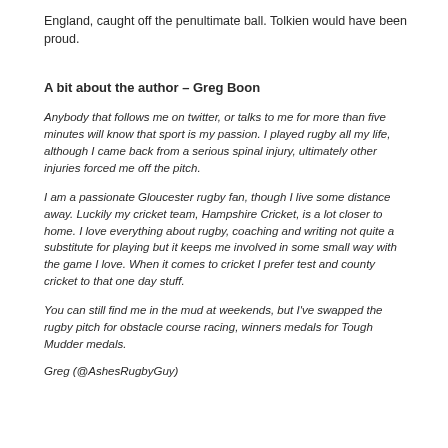England, caught off the penultimate ball. Tolkien would have been proud.
A bit about the author  – Greg Boon
Anybody that follows me on twitter, or talks to me for more than five minutes will know that sport is my passion. I played rugby all my life, although I came back from a serious spinal injury, ultimately other injuries forced me off the pitch.
I am a passionate Gloucester rugby fan, though I live some distance away. Luckily my cricket team, Hampshire Cricket, is a lot closer to home. I love everything about rugby, coaching and writing not quite a substitute for playing but it keeps me involved in some small way with the game I love. When it comes to cricket I prefer test and county cricket to that one day stuff.
You can still find me in the mud at weekends, but I've swapped the rugby pitch for obstacle course racing, winners medals for Tough Mudder medals.
Greg (@AshesRugbyGuy)